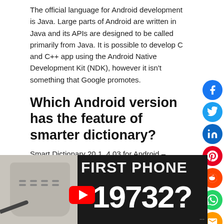The official language for Android development is Java. Large parts of Android are written in Java and its APIs are designed to be called primarily from Java. It is possible to develop C and C++ app using the Android Native Development Kit (NDK), however it isn't something that Google promotes.
Which Android version has the feature of smarter dictionary?
Smart Dictionary 20.1. 4.03 for Android – Download.
[Figure (screenshot): Video thumbnail showing an old mobile phone handset with text 'FIRST PHONE' and '19732?' in large bold font, with a YouTube play button overlay.]